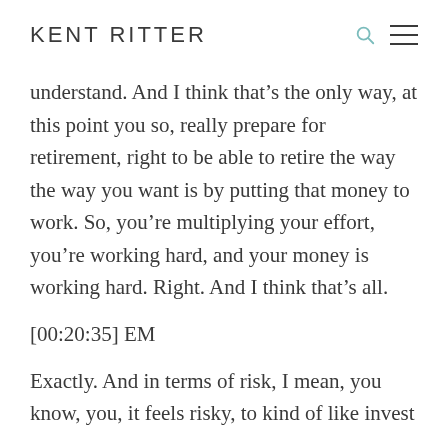KENT RITTER
understand. And I think that’s the only way, at this point you so, really prepare for retirement, right to be able to retire the way the way you want is by putting that money to work. So, you’re multiplying your effort, you’re working hard, and your money is working hard. Right. And I think that’s all.
[00:20:35] EM
Exactly. And in terms of risk, I mean, you know, you, it feels risky, to kind of like invest